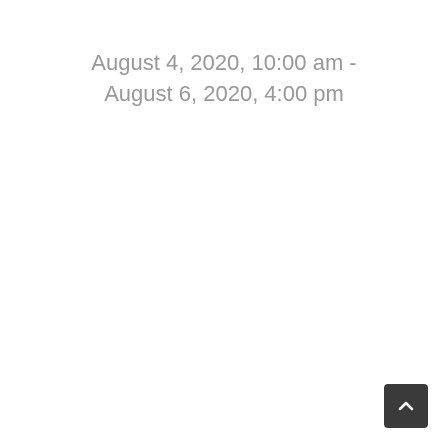August 4, 2020, 10:00 am - August 6, 2020, 4:00 pm
[Figure (other): Scroll-to-top button: dark rounded square with upward chevron arrow icon in white]